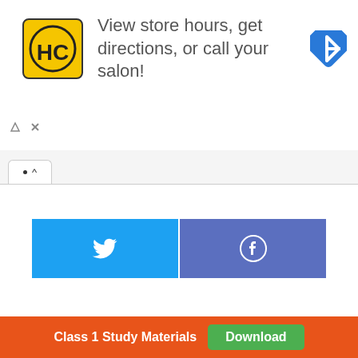[Figure (infographic): Advertisement banner with HC salon logo (yellow square with HC text) and navigation icon. Text reads: View store hours, get directions, or call your salon!]
View store hours, get directions, or call your salon!
[Figure (infographic): Social media share buttons: Twitter (blue) and Facebook (purple-blue) side by side]
Class 1 Study Materials
Download